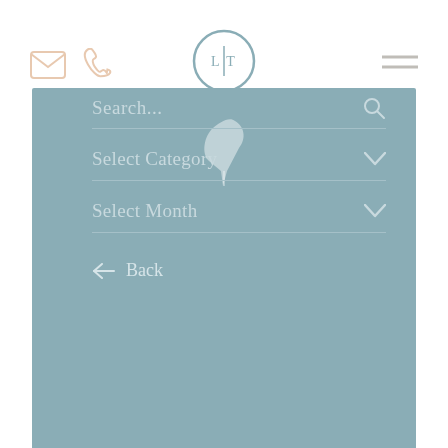[Figure (screenshot): Website header with email icon, phone icon, circular logo with initials LT, and hamburger menu icon on white background]
[Figure (screenshot): Slate-blue/teal search panel with feather quill icon at top, Search... input field with search icon, Select Category dropdown, Select Month dropdown, and Back arrow link]
[Figure (screenshot): Partial bottom teal panel visible at bottom of page]